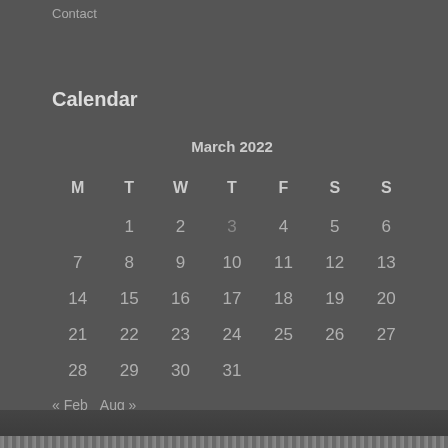Contact
Calendar
| M | T | W | T | F | S | S |
| --- | --- | --- | --- | --- | --- | --- |
|  | 1 | 2 | 3 | 4 | 5 | 6 |
| 7 | 8 | 9 | 10 | 11 | 12 | 13 |
| 14 | 15 | 16 | 17 | 18 | 19 | 20 |
| 21 | 22 | 23 | 24 | 25 | 26 | 27 |
| 28 | 29 | 30 | 31 |  |  |  |
« Feb   Aug »